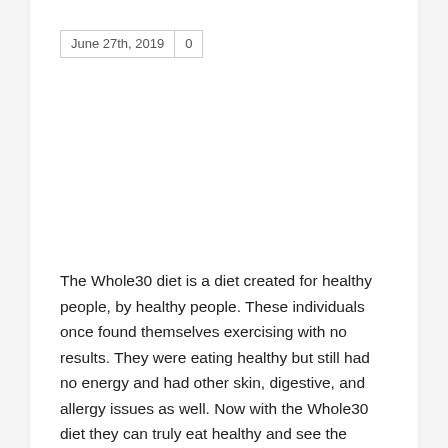June 27th, 2019   0
The Whole30 diet is a diet created for healthy people, by healthy people. These individuals once found themselves exercising with no results. They were eating healthy but still had no energy and had other skin, digestive, and allergy issues as well. Now with the Whole30 diet they can truly eat healthy and see the results they deserve.